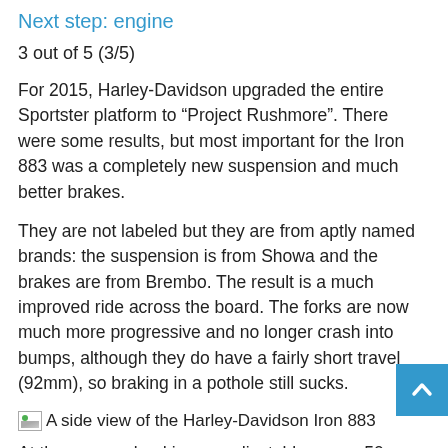Next step: engine
3 out of 5 (3/5)
For 2015, Harley-Davidson upgraded the entire Sportster platform to “Project Rushmore”. There were some results, but most important for the Iron 883 was a completely new suspension and much better brakes.
They are not labeled but they are from aptly named brands: the suspension is from Showa and the brakes are from Brembo. The result is a much improved ride across the board. The forks are now much more progressive and no longer crash into bumps, although they do have a fairly short travel (92mm), so braking in a pothole still sucks.
[Figure (photo): A side view of the Harley-Davidson Iron 883 (image placeholder with alt text shown)]
At the rear, preload is now adjustable over a 50mm range, instead of the three options previously, but again the travel is